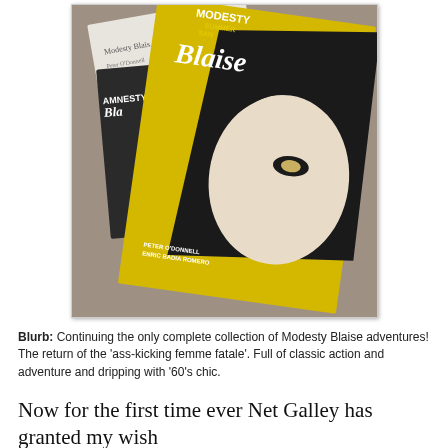[Figure (photo): Photo of Modesty Blaise comic book covers/graphic novels on a carpeted surface. The front cover shows a bold graphic design with yellow and black/white illustration of a woman's face and the title 'MODESTY Blaise' in large text. Behind it are other editions including 'Modesty Blaise' paperback and 'Amnesty Bla...' edition. Credits 'Peter O'Donnell, Enric Badia Romero' visible on front cover.]
Blurb: Continuing the only complete collection of Modesty Blaise adventures! The return of the 'ass-kicking femme fatale'. Full of classic action and adventure and dripping with '60's chic.
Now for the first time ever Net Galley has granted my wish